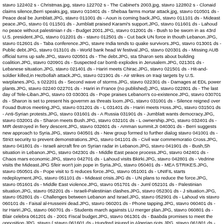stavro 122402 s - Christmas.jpg, stavro 122702 s - The Cabinet's 2003.jpg, stavro 122802 s - Clonaid claims silence,Berri speaks.jpg, stavro 010401 ds - Shebaa farms mortar attack.jpg, stavro 010501 ds - Peace deal be Jumblatt.JPG, stavro 011001 ds - Aoun is coming back.JPG, stavro 011101 ds - Mideast peace.JPG, stavro 01 011501 ds - Jumblatt praised Karami's support.JPG, stavro 011601 ds - Lahoud no peace without palestinian r ds - Budget 2001.JPG, stavro 012001 ds - Bush to be sworn in as 43rd U.S. president.JPG, stavro 012201 ds - stavro 012501 ds - Cut back UN force in thouth Lebanon.JPG, stavro 012601 ds - Taba conference.JPG, stavre India tends to quake survivors.JPG, stavro 013001 ds - Public debt.JPG, stavro 013101 ds - World bank head W festival.JPG, stavro 020301 ds - Missing AUB official turns up safe.JPG, stavro 020501 ds - The debt.JPG, sta Sharon sets about building coalition.JPG, stavro 020901 ds - Suspected car bomb explodes in Jerusalem.JPG, 021301 ds - Lebanese situation.JPG, stavro 021401 ds - Hariri meets Chirac.JPG, stavro 021501 ds - Hit-and- soldier killed,in Hezbollah attack.JPG, stavro 021901 ds - Air strikes on Iraqi targets by U.S. warplanes.JPG, s 022201 ds - Second wave of storms.JPG, stavro 022301 ds - Damages at EDL power plants.JPG, stavro 02240 022701 ds - Hariri in France (no published).JPG, stavro 022801 ds - The last day of Tele-Liban.JPG, stavro 03 030301 ds - Pope praises Lebanon's co-existence.JPG, stavro 030701 ds - Sharon is set to present his governm as threats loom.JPG, stavro 031001 ds - Silence reigned over Fouad Butros meeting.JPG, stavro 031201 ds - L 031401 ds - Hariri meets Hoss.JPG, stavro 031501 ds - Anti-Syrian protests.JPG, stavro 031601 ds - A Russia 031901 ds - Jumblatt wants democracy.JPG, stavro 032001 ds - Sharon meets Bush.JPG, stavro 032101 ds - L ownership.JPG, stavro 032401 ds - MIR destroyed in fiery descent.JPG, stavro 032601 ds - Amman summit.JI 040301 ds - Berri suggests new approach to Syria.JPG, stavro 040501 ds - New group formed to further dialog stavro 041001 ds - Strict security to prevent demonstrations.JPG, stavro 041101 ds - Civil war commemoratio Cross.JPG, stavro 041801 ds - Israeli aircraft fire on Syrian radar in Lebanon.JPG, stavro 041901 ds - Bush,Sh situation in Lebanon.JPG, stavro 042301 ds - Middle East peace process.JPG, stavro 042401 ds - Chaos mars economic.JPG, stavro 042701 ds - Lahoud visits Bkirki.JPG, stavro 042801 ds - Vedrine visits the Mideast.JPG Sfeir won't join pope in Syria.JPG, stavro 050401 ds - MEA STRIKES.JPG, stavro 050501 ds - Pope visit to S reduces force.JPG, stavro 051001 ds - UNIFIL starts redeployment.JPG, stavro 051101 ds - Mideast crisis.JPG ds - UN plans to reduce the force.JPG, stavro 051601 ds - Middle East violence.JPG, stavro 051701 ds - Juml 052101 ds - Palestinian situation.JPG, stavro 052201 ds - Israeli-Palestinian clashes.JPG, stavro 052301 ds - J situation.JPG, stavro 052801 ds - Challenges between Lebanon and Israel.JPG, stavro 052901 ds - Lahoud vis stavro 060101 ds - Faisal al-Husseini dead.JPG, stavro 060201 ds - Phone tapping.JPG, stavro 060401 ds - Isr Hariri.JPG, stavro 060701 ds - Students march againsts LU merger plan.JPG, stavro 060801 ds - Blair celebra 061201 ds - 2001 Fiscal budget.JPG, stavro 061301 ds - Baabda promises to meet the opposition.JPG, stavro ( stavro 061601 ds - Hundred injured in Algerian riots.JPG, stavro 061801 ds - Annan Mideast tour.JPG, stavro tapping.JPG, stavro 062201 ds - MEA workers lay siege to Hout's office.JPG, stavro 062301 ds - The governm began a visit to France.JPG, stavro 062701 ds - Sharon meets Bush.JPG, stavro 062801 ds - Powell in the Mid Israel destroys Syrian radar in Bekaa.JPG, stavro 070301 ds - Lebanon lodged a complaint with UN.JPG, stav ds - Sharon meets Schroeder in Berlin (not published).JPG, stavro 070701 ds - Envoy trio seeks to keep lid on over Shebaa tape.JPG, stavro 071101 ds - The strikes will affect maintenance at EDL.JPG, stavro 071201 ds - Electricity union crisis.jpg, stavro 071601 ds - Peres sees hope after meeting with Arafat.jpg, stavro 071701 ds stavro 071901 ds - EDL bill scandal.jpg, stavro 072001 ds - Cabinet looks set to get rid of EDL board.jpg, stav GB summit.jpg, stavro 072401 ds - Prosecutor grills EDL men on unpaid bill.JPG, stavro 072501 ds - Sharon rights to suspects in criminal cases.jpg, stavro 073001 ds - Israeli tanks shell West Bank.jpg, stavro 073001...